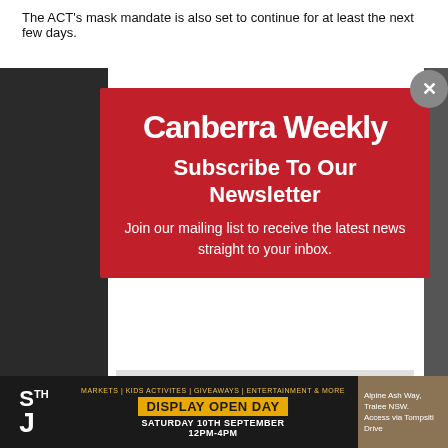The ACT's mask mandate is also set to continue for at least the next few days.
[Figure (screenshot): Canberra Weekly newsletter subscription modal popup over a webpage. Red modal with white text showing logo 'Canberra Weekly', heading 'Subscribe To Our Newsletter', subtext 'Join our mailing list to receive the latest news straight to your inbox.', an email input field, and a SUBSCRIBE! button. Below is an advertisement banner for a Display Open Day at Alpine Ash Way, Saturday 10th September 12PM-4PM.]